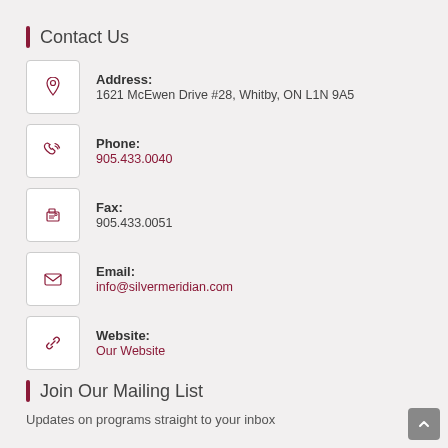Contact Us
Address: 1621 McEwen Drive #28, Whitby, ON L1N 9A5
Phone: 905.433.0040
Fax: 905.433.0051
Email: info@silvermeridian.com
Website: Our Website
Join Our Mailing List
Updates on programs straight to your inbox